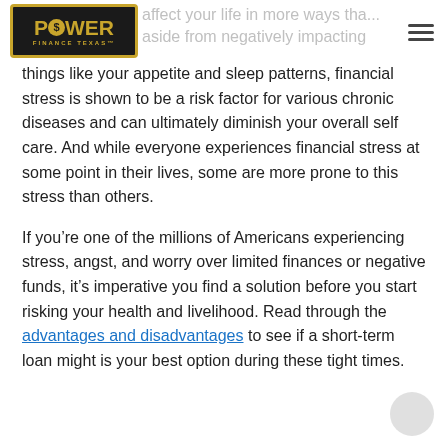Power Finance Texas | affect your life in more ways than aside from negatively impacting
things like your appetite and sleep patterns, financial stress is shown to be a risk factor for various chronic diseases and can ultimately diminish your overall self care. And while everyone experiences financial stress at some point in their lives, some are more prone to this stress than others.
If you’re one of the millions of Americans experiencing stress, angst, and worry over limited finances or negative funds, it’s imperative you find a solution before you start risking your health and livelihood. Read through the advantages and disadvantages to see if a short-term loan might is your best option during these tight times.